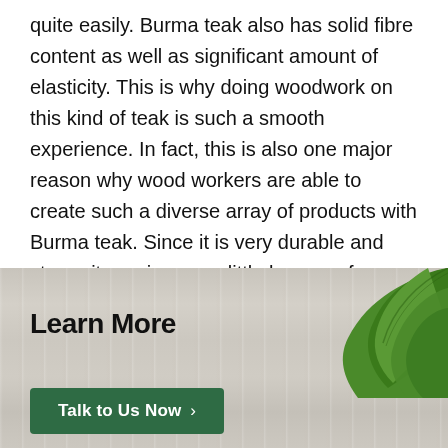quite easily. Burma teak also has solid fibre content as well as significant amount of elasticity. This is why doing woodwork on this kind of teak is such a smooth experience. In fact, this is also one major reason why wood workers are able to create such a diverse array of products with Burma teak. Since it is very durable and strong it requires very little by way of maintenance. All you need for your teak furniture to have long life is to clean it on a regular basis with cloth. If you wish to retain its shine make sure you keep re-polishing the product after a few years.
[Figure (photo): Photo section with wood-grain background texture and green leaves in the top-right corner. Contains bold 'Learn More' heading text and a dark green 'Talk to Us Now >' call-to-action button.]